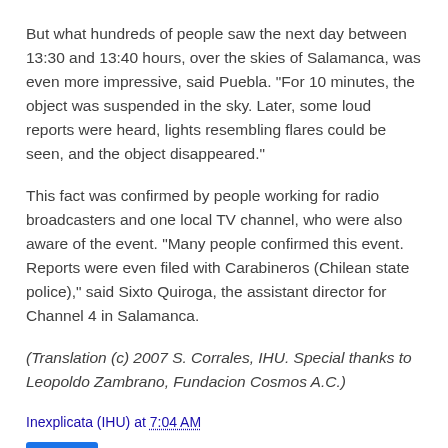But what hundreds of people saw the next day between 13:30 and 13:40 hours, over the skies of Salamanca, was even more impressive, said Puebla. "For 10 minutes, the object was suspended in the sky. Later, some loud reports were heard, lights resembling flares could be seen, and the object disappeared."
This fact was confirmed by people working for radio broadcasters and one local TV channel, who were also aware of the event. "Many people confirmed this event. Reports were even filed with Carabineros (Chilean state police)," said Sixto Quiroga, the assistant director for Channel 4 in Salamanca.
(Translation (c) 2007 S. Corrales, IHU. Special thanks to Leopoldo Zambrano, Fundacion Cosmos A.C.)
Inexplicata (IHU) at 7:04 AM
Share